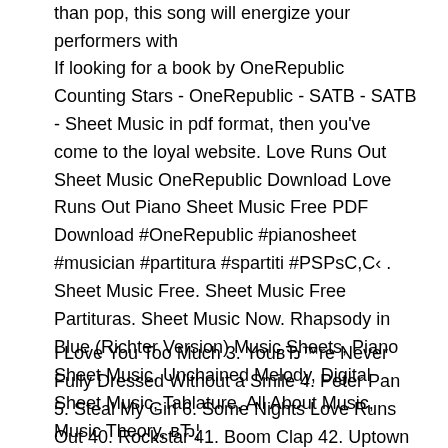than pop, this song will energize your performers with
If looking for a book by OneRepublic Counting Stars - OneRepublic - SATB - SATB - Sheet Music in pdf format, then you've come to the loyal website. Love Runs Out Sheet Music OneRepublic Download Love Runs Out Piano Sheet Music Free PDF Download #OneRepublic #pianosheet #musician #partitura #spartiti #PSPsC,C‹ . Sheet Music Free. Sheet Music Free Partituras. Sheet Music Now. Rhapsody in Blue (Richter Version) Music Sheets, Piano Sheet Music, Unchained Melody, Digital Sheet Music, Tablature, All About Music, Music Theory, вЂ¦
I Love You Too Much 3. YouвЂ™re Never Fully Dressed Without a Smile 4. Peter Pan 5. Steal My Girl 6. Some Nights Love Runs Out 40. Rockstar 41. Boom Clap 42. Uptown Funk 43. Me and My Broken Heart 44. Vida 45. Maps 46. All of Me